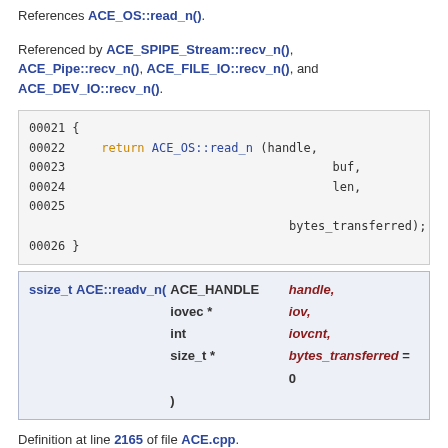References ACE_OS::read_n().
Referenced by ACE_SPIPE_Stream::recv_n(), ACE_Pipe::recv_n(), ACE_FILE_IO::recv_n(), and ACE_DEV_IO::recv_n().
[Figure (screenshot): Code block showing lines 00021-00026: { return ACE_OS::read_n (handle, buf, len, bytes_transferred); }]
| ssize_t | ACE::readv_n( | ACE_HANDLE | handle, |
|  |  | iovec * | iov, |
|  |  | int | iovcnt, |
|  |  | size_t * | bytes_transferred = 0 |
|  |  | ) |  |
Definition at line 2165 of file ACE.cpp.
References iovec::iov_len, ACE_OS::readv(), and ssize_t.